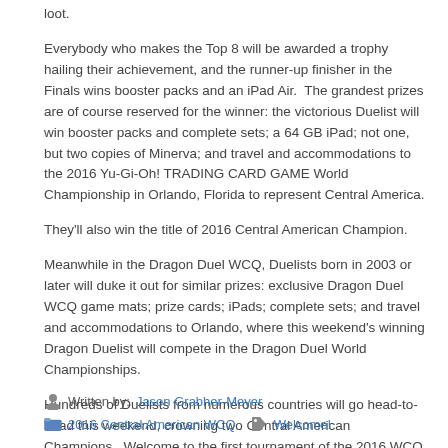loot.
Everybody who makes the Top 8 will be awarded a trophy hailing their achievement, and the runner-up finisher in the Finals wins booster packs and an iPad Air.  The grandest prizes are of course reserved for the winner: the victorious Duelist will win booster packs and complete sets; a 64 GB iPad; not one, but two copies of Minerva; and travel and accommodations to the 2016 Yu-Gi-Oh! TRADING CARD GAME World Championship in Orlando, Florida to represent Central America.
They'll also win the title of 2016 Central American Champion.
Meanwhile in the Dragon Duel WCQ, Duelists born in 2003 or later will duke it out for similar prizes: exclusive Dragon Duel WCQ game mats; prize cards; iPads; complete sets; and travel and accommodations to Orlando, where this weekend's winning Dragon Duelist will compete in the Dragon Duel World Championships.
Hundreds of Duelists from numerous countries will go head-to-head this weekend, crowning two Central American Champions.  Welcome to the first tournament of the 2016 WCQ season, and welcome to Guadalajara – host to the 2016 Central American World Championship Qualifier!
Written by: Jason Grabher-Meyer  2016 Central American WCQ  Welcome!